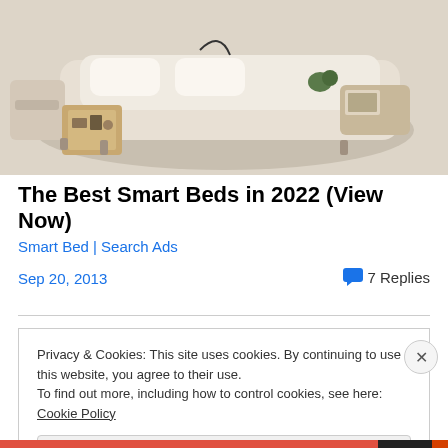[Figure (photo): Advertisement image showing a smart bed with storage drawers open, beige/cream colored upholstery, with items stored inside the drawers]
The Best Smart Beds in 2022 (View Now)
Smart Bed | Search Ads
Sep 20, 2013
7 Replies
Privacy & Cookies: This site uses cookies. By continuing to use this website, you agree to their use.
To find out more, including how to control cookies, see here: Cookie Policy